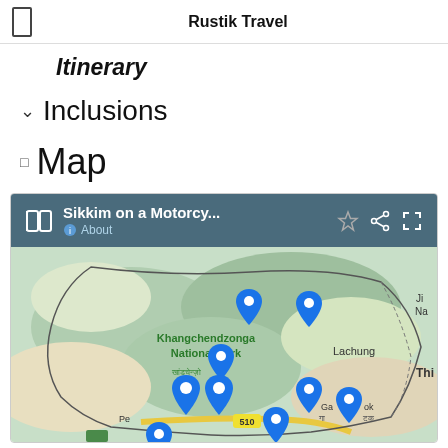Rustik Travel
Itinerary
Inclusions
Map
[Figure (map): Google Maps embedded map showing Sikkim region with multiple blue location pin markers. Map titled 'Sikkim on a Motorcy...' showing Khangchendzonga National Park, Lachung, Gangtok area, Pelling, and road 510. Multiple blue pins scattered across the map.]